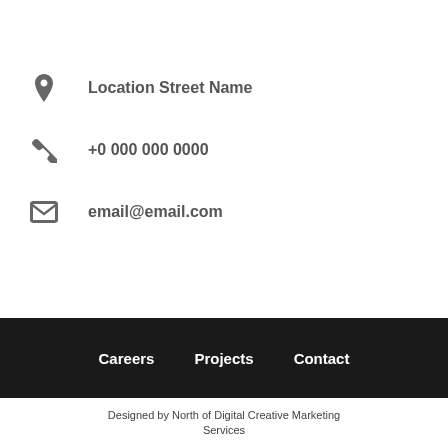Location Street Name
+0 000 000 0000
email@email.com
Careers   Projects   Contact
Designed by North of Digital Creative Marketing Services